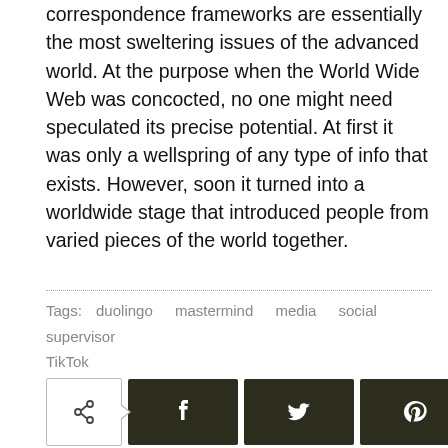correspondence frameworks are essentially the most sweltering issues of the advanced world. At the purpose when the World Wide Web was concocted, no one might need speculated its precise potential. At first it was only a wellspring of any type of info that exists. However, soon it turned into a worldwide stage that introduced people from varied pieces of the world together.
Tags:   duolingo   mastermind   media   social   supervisor   TikTok
[Figure (other): Social share bar with share icon button (outlined), Facebook, Twitter, Pinterest, and WhatsApp dark olive/green square icon buttons]